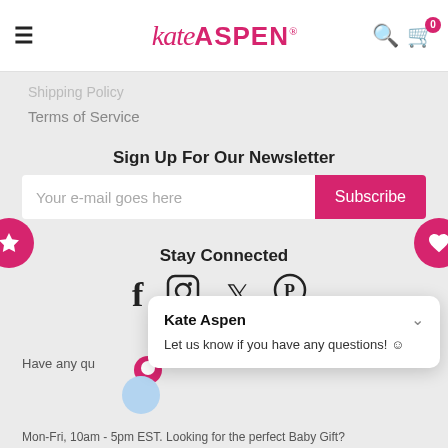kate ASPEN®
Shipping Policy
Terms of Service
Sign Up For Our Newsletter
Your e-mail goes here
Subscribe
Stay Connected
[Figure (infographic): Social media icons: Facebook, Instagram, Twitter, Pinterest]
Contact Us
Have any qu...
Mon-Fri, 10am - 5pm EST. Looking for the perfect Baby Gift?
Kate Aspen
Let us know if you have any questions! 😊